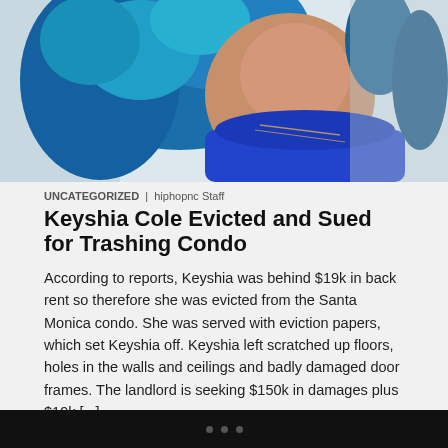[Figure (photo): Photo of a woman with blue curly hair wearing a blue dress and gold necklaces, cropped to show head and upper body]
UNCATEGORIZED | hiphopnc Staff
Keyshia Cole Evicted and Sued for Trashing Condo
According to reports, Keyshia was behind $19k in back rent so therefore she was evicted from the Santa Monica condo. She was served with eviction papers, which set Keyshia off. Keyshia left scratched up floors, holes in the walls and ceilings and badly damaged door frames. The landlord is seeking $150k in damages plus $19k [...]
[Figure (photo): Broken/missing image placeholder]
• • •